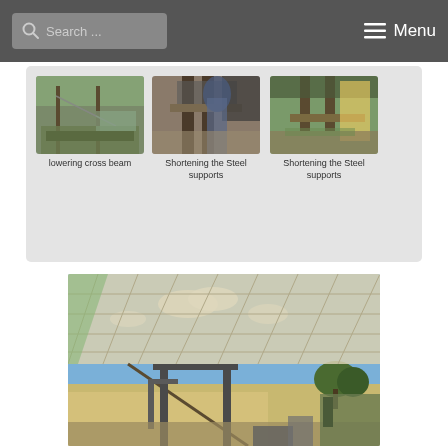Search ... Menu
[Figure (photo): Three thumbnail photos: 'lowering cross beam', 'Shortening the Steel supports', 'Shortening the Steel supports' - construction site images showing steel beam work]
lowering cross beam
Shortening the Steel supports
Shortening the Steel supports
[Figure (photo): Large photo showing interior of a steel-framed agricultural building under construction, with corrugated roof sheeting installed, looking outward to a rural landscape with fields and trees under a cloudy sky]